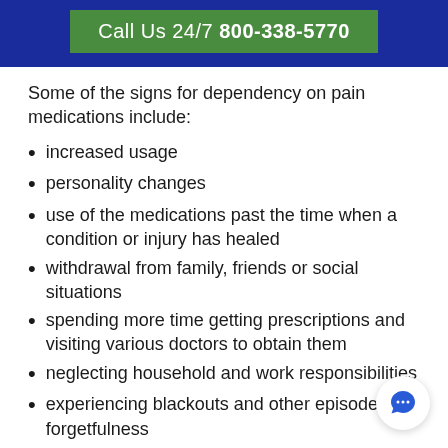Call Us 24/7 800-338-5770
Some of the signs for dependency on pain medications include:
increased usage
personality changes
use of the medications past the time when a condition or injury has healed
withdrawal from family, friends or social situations
spending more time getting prescriptions and visiting various doctors to obtain them
neglecting household and work responsibilities
experiencing blackouts and other episodes of forgetfulness